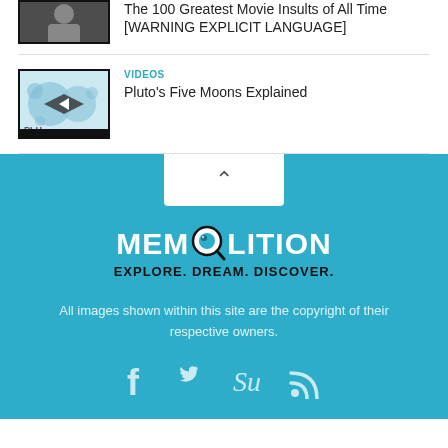[Figure (screenshot): Partially visible video thumbnail with person]
The 100 Greatest Movie Insults of All Time [WARNING EXPLICIT LANGUAGE]
VIDEOS
[Figure (screenshot): Video thumbnail for Pluto's Five Moons with blue circles and play button]
Pluto's Five Moons Explained
[Figure (logo): Memolition logo with magnifying glass icon and tagline EXPLORE. DREAM. DISCOVER.]
All images shown within this site are the copyright of their respective owners.
Social icons: Facebook, Twitter, StumbleUpon, RSS